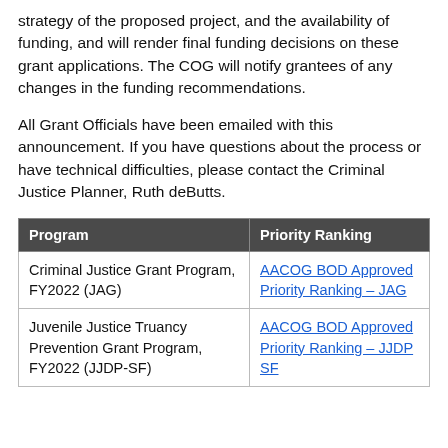strategy of the proposed project, and the availability of funding, and will render final funding decisions on these grant applications. The COG will notify grantees of any changes in the funding recommendations.
All Grant Officials have been emailed with this announcement. If you have questions about the process or have technical difficulties, please contact the Criminal Justice Planner, Ruth deButts.
| Program | Priority Ranking |
| --- | --- |
| Criminal Justice Grant Program, FY2022 (JAG) | AACOG BOD Approved Priority Ranking – JAG |
| Juvenile Justice Truancy Prevention Grant Program, FY2022 (JJDP-SF) | AACOG BOD Approved Priority Ranking – JJDP SF |